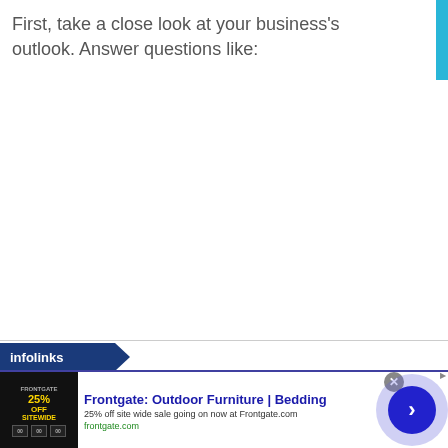First, take a close look at your business's outlook. Answer questions like:
[Figure (other): Infolinks advertising network logo — dark blue shield shape with 'infolinks' text in white]
[Figure (other): Advertisement banner for Frontgate: Outdoor Furniture and Bedding. Shows a dark image with '25% OFF SITEWIDE' text, alongside ad title 'Frontgate: Outdoor Furniture | Bedding', description '25% off site wide sale going on now at Frontgate.com', and URL 'frontgate.com'. Includes a close (X) button and a blue circular arrow navigation button.]